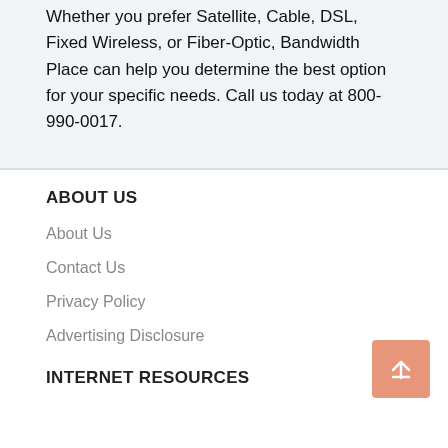Whether you prefer Satellite, Cable, DSL, Fixed Wireless, or Fiber-Optic, Bandwidth Place can help you determine the best option for your specific needs. Call us today at 800-990-0017.
ABOUT US
About Us
Contact Us
Privacy Policy
Advertising Disclosure
INTERNET RESOURCES